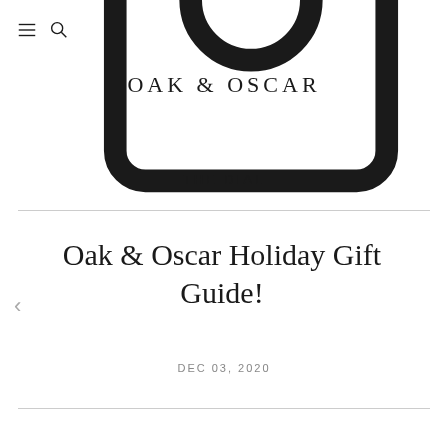Navigation icons: hamburger menu, search, cart
OAK & OSCAR
THE DIAL
Oak & Oscar Holiday Gift Guide!
DEC 03, 2020